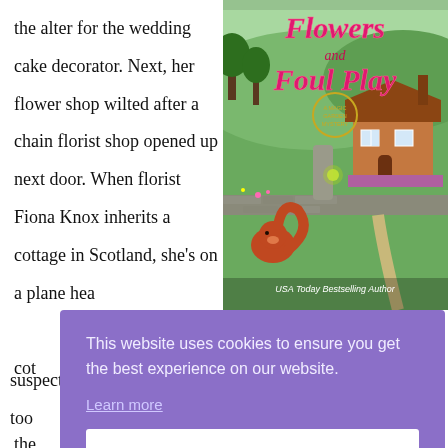the alter for the wedding cake decorator. Next, her flower shop wilted after a chain florist shop opened up next door. When florist Fiona Knox inherits a cottage in Scotland, she's on a plane hea... cot... the... Chi... pas... suspect. Now it's up to Fiona to clear his name before it's too
[Figure (illustration): Book cover: 'Flowers and Foul Play - A Magic Garden Mystery' by USA Today Bestselling Author. Shows illustrated Scottish cottage with a squirrel in foreground, green hills and stone walls in background. Title in pink/magenta script font.]
This website uses cookies to ensure you get the best experience on our website.
Learn more
Got it